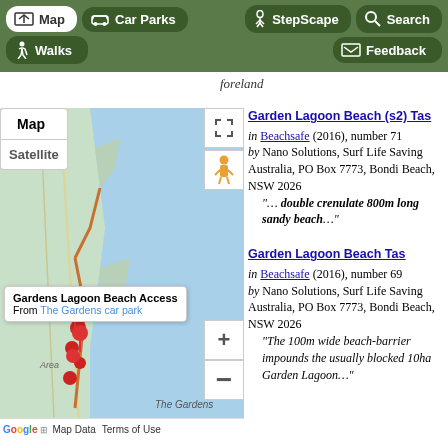[Figure (screenshot): Navigation bar with Map, Car Parks, StepScape, Search, Walks, Feedback buttons on dark green background]
foreland
[Figure (map): Google Map showing Gardens Lagoon Beach Access area with map/satellite toggle, zoom controls, pegman, expand button, and popup label 'Gardens Lagoon Beach Access From The Gardens car park'. Shows red location markers and orange route lines on coastal map.]
Garden Lagoon Beach (s2) Tas
in Beachsafe (2016), number 71
by Nano Solutions, Surf Life Saving Australia, PO Box 7773, Bondi Beach, NSW 2026
"… double crenulate 800m long sandy beach…"
Garden Lagoon Beach Tas
in Beachsafe (2016), number 69
by Nano Solutions, Surf Life Saving Australia, PO Box 7773, Bondi Beach, NSW 2026
"The 100m wide beach-barrier impounds the usually blocked 10ha Garden Lagoon…"